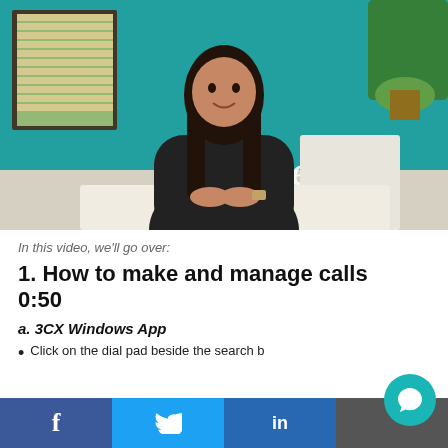[Figure (photo): Video thumbnail showing a woman with long dark hair wearing a black top, seated at a white table, with a teal/turquoise wall behind her, a window with blinds on the left, a plant on the right, and a decorative 'each' sign. She appears to be speaking to the camera.]
In this video, we'll go over:
1. How to make and manage calls  0:50
a. 3CX Windows App
Click on the dial pad beside the search b…